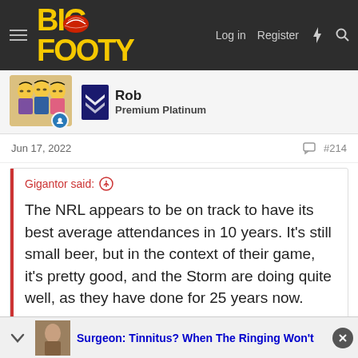BigFooty — Log in  Register
[Figure (logo): BigFooty logo with hat graphic, nav bar with Log in, Register, lightning bolt and search icons]
[Figure (photo): User avatar: cartoon Simpsons-style characters. Melbourne Storm chevron logo badge. User online badge icon.]
Rob
Premium Platinum
Jun 17, 2022   #214
Gigantor said: ↑
The NRL appears to be on track to have its best average attendances in 10 years. It's still small beer, but in the context of their game, it's pretty good, and the Storm are doing quite well, as they have done for 25 years now.
Surgeon: Tinnitus? When The Ringing Won't